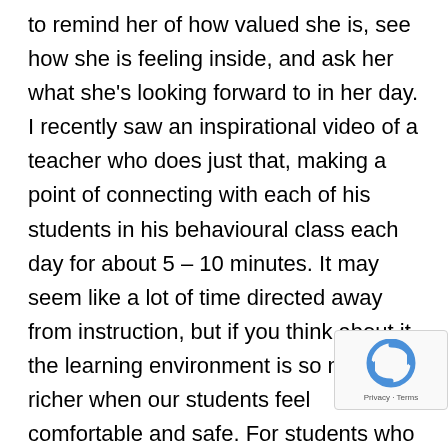to remind her of how valued she is, see how she is feeling inside, and ask her what she's looking forward to in her day. I recently saw an inspirational video of a teacher who does just that, making a point of connecting with each of his students in his behavioural class each day for about 5 – 10 minutes. It may seem like a lot of time directed away from instruction, but if you think about it, the learning environment is so much richer when our students feel comfortable and safe. For students who are riding through stormy seas, whether behaviourally or developmenta… calm and caring voice can be an anchor for them.